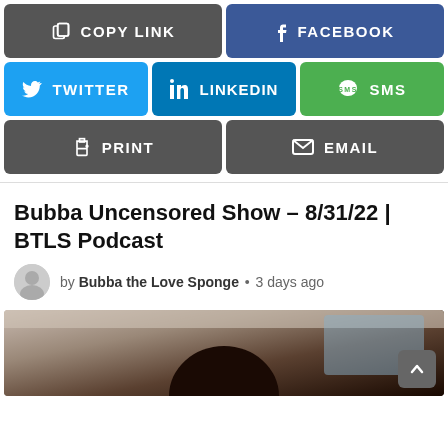[Figure (screenshot): Share buttons row 1: Copy Link (dark gray) and Facebook (dark blue)]
[Figure (screenshot): Share buttons row 2: Twitter (light blue), LinkedIn (medium blue), SMS (green)]
[Figure (screenshot): Share buttons row 3: Print (dark gray) and Email (dark gray)]
Bubba Uncensored Show – 8/31/22 | BTLS Podcast
by Bubba the Love Sponge • 3 days ago
[Figure (photo): Thumbnail photo of a person in a car, shot from inside the vehicle]